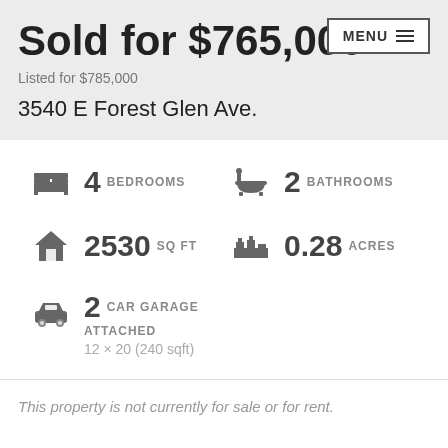Sold for $765,000
Listed for $785,000
3540 E Forest Glen Ave.
4 BEDROOMS
2 BATHROOMS
2530 SQ FT
0.28 ACRES
2 CAR GARAGE ATTACHED 12 × 20 (240 sqft)
This property is not currently for sale or for rent.